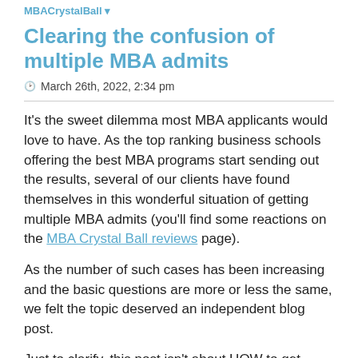MBACrystalBall
Clearing the confusion of multiple MBA admits
March 26th, 2022, 2:34 pm
It’s the sweet dilemma most MBA applicants would love to have. As the top ranking business schools offering the best MBA programs start sending out the results, several of our clients have found themselves in this wonderful situation of getting multiple MBA admits (you’ll find some reactions on the MBA Crystal Ball reviews page).
As the number of such cases has been increasing and the basic questions are more or less the same, we felt the topic deserved an independent blog post.
Just to clarify, this post isn’t about HOW to get multiple MBA admits. Rather it’s about what to do AFTER you get